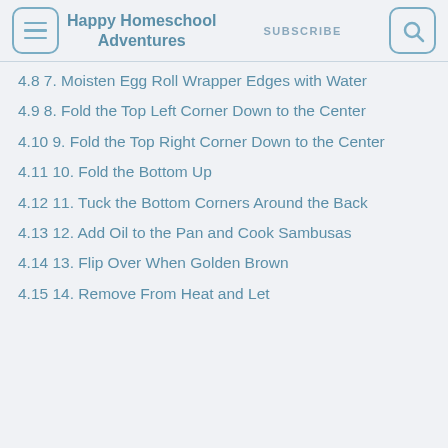Happy Homeschool Adventures | SUBSCRIBE
4.8  7. Moisten Egg Roll Wrapper Edges with Water
4.9  8. Fold the Top Left Corner Down to the Center
4.10  9. Fold the Top Right Corner Down to the Center
4.11  10. Fold the Bottom Up
4.12  11. Tuck the Bottom Corners Around the Back
4.13  12. Add Oil to the Pan and Cook Sambusas
4.14  13. Flip Over When Golden Brown
4.15  14. Remove From Heat and Let